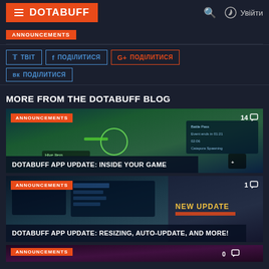DOTABUFF
ANNOUNCEMENTS
ТВІТ  ПОДІЛИТИСЯ  ПОДІЛИТИСЯ  ПОДІЛИТИСЯ
MORE FROM THE DOTABUFF BLOG
[Figure (screenshot): Game screenshot with ANNOUNCEMENTS badge and comment count 14, title: DOTABUFF APP UPDATE: INSIDE YOUR GAME]
[Figure (screenshot): Game screenshot with ANNOUNCEMENTS badge, NEW UPDATE text, comment count 1, title: DOTABUFF APP UPDATE: RESIZING, AUTO-UPDATE, AND MORE!]
[Figure (screenshot): Partial game screenshot with ANNOUNCEMENTS badge]